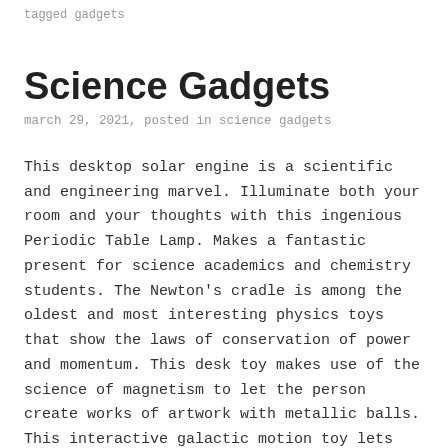tagged gadgets
Science Gadgets
march 29, 2021, posted in science gadgets
This desktop solar engine is a scientific and engineering marvel. Illuminate both your room and your thoughts with this ingenious Periodic Table Lamp. Makes a fantastic present for science academics and chemistry students. The Newton’s cradle is among the oldest and most interesting physics toys that show the laws of conservation of power and momentum. This desk toy makes use of the science of magnetism to let the person create works of artwork with metallic balls. This interactive galactic motion toy lets kids feel the facility of an actual spaceship of their hand! Kids will